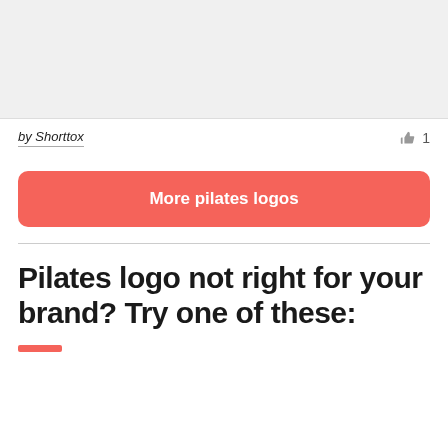[Figure (other): Grey placeholder image area at top of page]
by Shorttox
👍 1
More pilates logos
Pilates logo not right for your brand? Try one of these: